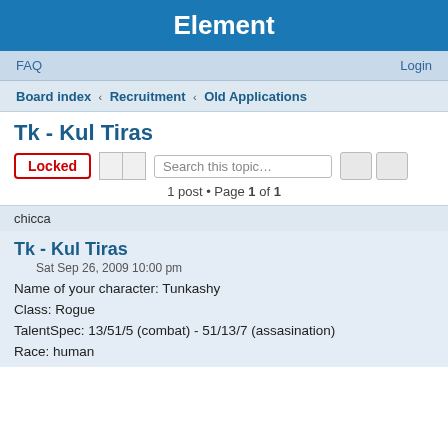Element
FAQ    Login
Board index ‹ Recruitment ‹ Old Applications
Tk - Kul Tiras
Locked  Search this topic…  1 post • Page 1 of 1
chicca
Tk - Kul Tiras
Sat Sep 26, 2009 10:00 pm
Name of your character: Tunkashy
Class: Rogue
TalentSpec: 13/51/5 (combat) - 51/13/7 (assasination)
Race: human